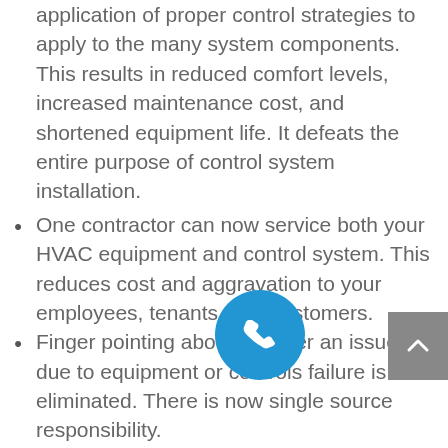application of proper control strategies to apply to the many system components. This results in reduced comfort levels, increased maintenance cost, and shortened equipment life. It defeats the entire purpose of control system installation.
One contractor can now service both your HVAC equipment and control system. This reduces cost and aggravation to your employees, tenants, and customers.
Finger pointing about whether an issue is due to equipment or controls failure is eliminated. There is now single source responsibility.
Since Climatech is not obligated to any single manufacturer, we are able to integrate different systems. Any manufacturer's equipment can share one common control.
Climatech installed systems are not proprietary. In the unlikely event that you